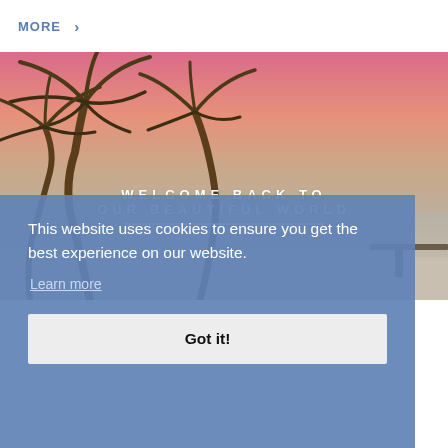MORE >
[Figure (photo): Tropical beach sunset scene with palm trees against a pink-to-grey gradient sky, with an ocean/beach visible in the background. Text overlay reads WELCOME BACK TO OUR BEAUTIFUL WORLD with a white underline.]
This website uses cookies to ensure you get the best experience on our website. Learn more
Got it!